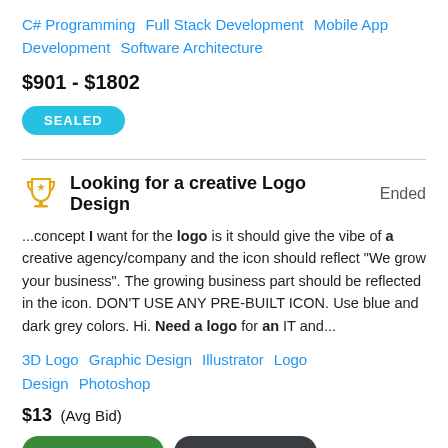C# Programming   Full Stack Development   Mobile App Development   Software Architecture
$901 - $1802
SEALED
Looking for a creative Logo Design  Ended
...concept I want for the logo is it should give the vibe of a creative agency/company and the icon should reflect "We grow your business". The growing business part should be reflected in the icon. DON'T USE ANY PRE-BUILT ICON. Use blue and dark grey colors. Hi. Need a logo for an IT and...
3D Logo   Graphic Design   Illustrator   Logo Design   Photoshop
$13  (Avg Bid)
GUARANTEED  TOP CONTEST